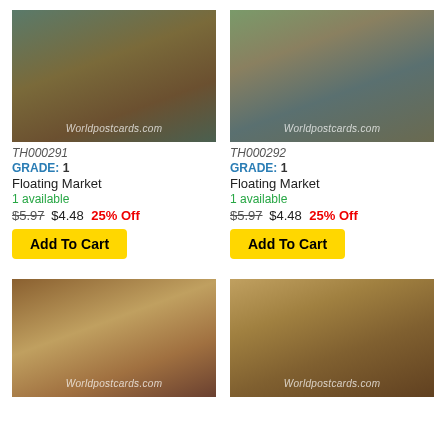[Figure (photo): Floating market with wooden boats on a canal, aerial view. Worldpostcards.com watermark.]
TH000291
GRADE: 1
Floating Market
1 available
$5.97 $4.48 25% Off
Add To Cart
[Figure (photo): Floating market with boats and people on a wider waterway. Worldpostcards.com watermark.]
TH000292
GRADE: 1
Floating Market
1 available
$5.97 $4.48 25% Off
Add To Cart
[Figure (photo): Thai traditional dancers performing on red carpet. Worldpostcards.com watermark.]
[Figure (photo): People at ornate temple entrance with golden decorations. Worldpostcards.com watermark.]